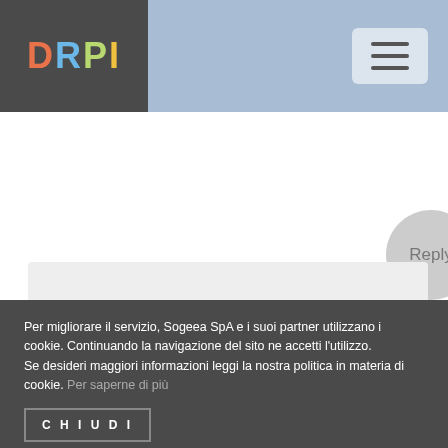DRPI
strokers
[...]please take a look at the internet sites we comply with, including this a single, because it represents our
Per migliorare il servizio, Sogeea SpA e i suoi partner utilizzano i cookie. Continuando la navigazione del sito ne accetti l'utilizzo.
Se desideri maggiori informazioni leggi la nostra politica in materia di cookie. Per saperne di più
CHIUDI